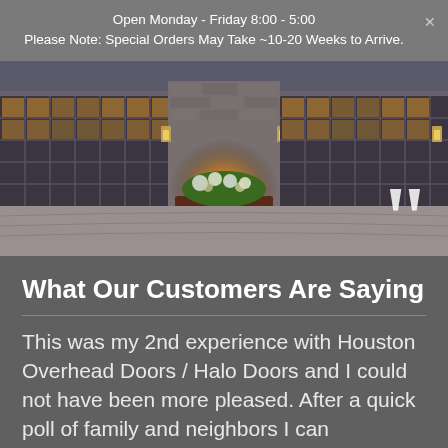Open Monday - Friday 8:00 - 5:00
Please Note: Special Orders May Take ~10-20 Weeks to Arrive.
[Figure (photo): Exterior photo of a building with large glass panel garage doors, stone wall accents, warm amber lighting over a central planter with flowers, and wall-mounted lanterns. A large white opening quotation mark is overlaid in the bottom-right corner.]
What Our Customers Are Saying
This was my 2nd experience with Houston Overhead Doors / Halo Doors and I could not have been more pleased. After a quick poll of family and neighbors I can confidently say the service and parts are priced quite reasonably